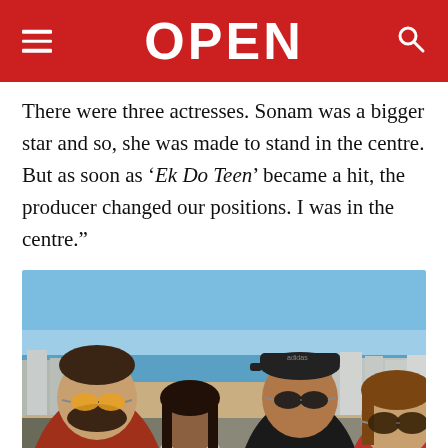OPEN
There were three actresses. Sonam was a bigger star and so, she was made to stand in the centre. But as soon as ‘Ek Do Teen’ became a hit, the producer changed our positions. I was in the centre.”
[Figure (photo): Selfie of four people (two men, a girl, and a woman) with a beach, boardwalk, and coastal cityscape in the background under a blue sky.]